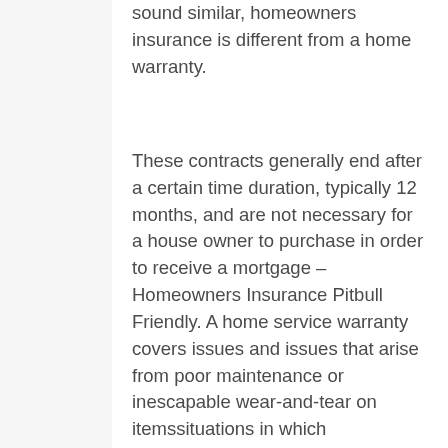sound similar, homeowners insurance is different from a home warranty.
These contracts generally end after a certain time duration, typically 12 months, and are not necessary for a house owner to purchase in order to receive a mortgage – Homeowners Insurance Pitbull Friendly. A home service warranty covers issues and issues that arise from poor maintenance or inescapable wear-and-tear on itemssituations in which homeowners insurance doesn't apply.